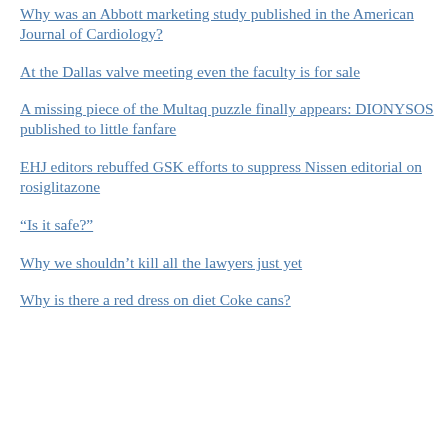Why was an Abbott marketing study published in the American Journal of Cardiology?
At the Dallas valve meeting even the faculty is for sale
A missing piece of the Multaq puzzle finally appears: DIONYSOS published to little fanfare
EHJ editors rebuffed GSK efforts to suppress Nissen editorial on rosiglitazone
“Is it safe?”
Why we shouldn’t kill all the lawyers just yet
Why is there a red dress on diet Coke cans?